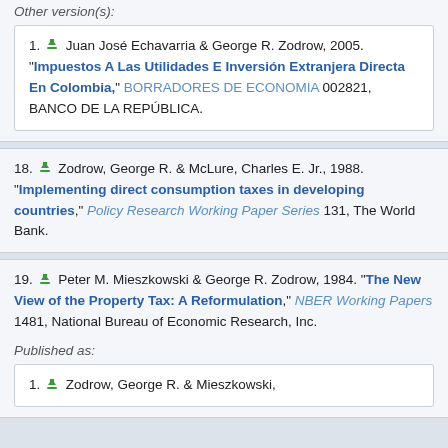Other version(s):
1. Juan José Echavarria & George R. Zodrow, 2005. "Impuestos A Las Utilidades E Inversión Extranjera Directa En Colombia," BORRADORES DE ECONOMIA 002821, BANCO DE LA REPÚBLICA.
18. Zodrow, George R. & McLure, Charles E. Jr., 1988. "Implementing direct consumption taxes in developing countries," Policy Research Working Paper Series 131, The World Bank.
19. Peter M. Mieszkowski & George R. Zodrow, 1984. "The New View of the Property Tax: A Reformulation," NBER Working Papers 1481, National Bureau of Economic Research, Inc.
Published as:
1. Zodrow, George R. & Mieszkowski,